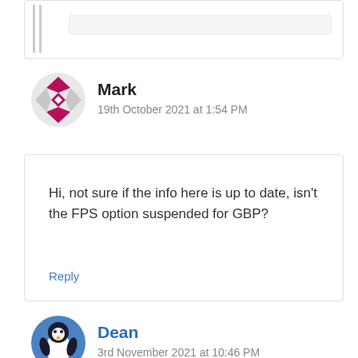[Figure (other): Partial top comment box with inner text field visible at top of page]
Mark
19th October 2021 at 1:54 PM
Hi, not sure if the info here is up to date, isn't the FPS option suspended for GBP?
Reply
Dean
3rd November 2021 at 10:46 PM